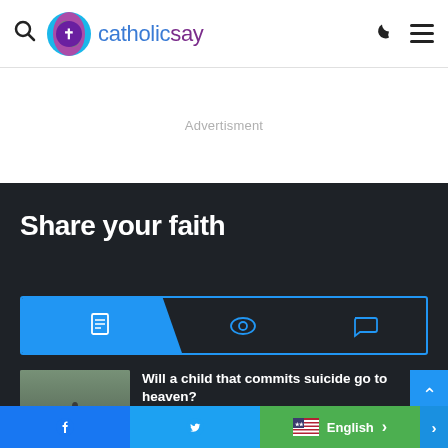catholicsay
Advertisment
Share your faith
[Figure (screenshot): Tab navigation bar with three icons: document (active, blue background), eye, and speech bubble]
[Figure (photo): Railroad tracks perspective photo thumbnail]
Will a child that commits suicide go to heaven?
August 15, 2022
Facebook | Twitter | English